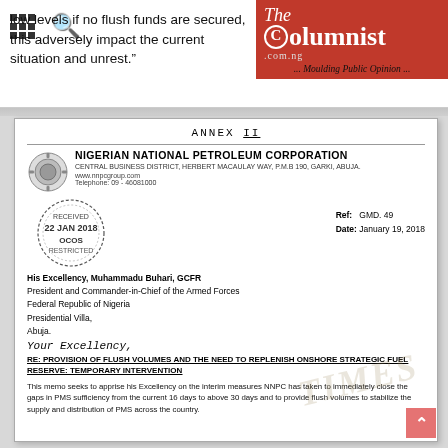The Columnist .com.ng ... Moulding Public Opinion ...
low levels if no flush funds are secured, this adversely impact the current situation and unrest."
[Figure (photo): Scanned NNPC letter: Annex II, Nigerian National Petroleum Corporation letterhead, received stamp 22 JAN 2018 OCOS RESTRICTED, Ref GMD.49, Date January 19 2018, addressed to His Excellency Muhammadu Buhari GCFR, President and Commander-in-Chief of the Armed Forces, Federal Republic of Nigeria, Presidential Villa, Abuja. Subject: RE: PROVISION OF FLUSH VOLUMES AND THE NEED TO REPLENISH ONSHORE STRATEGIC FUEL RESERVE: TEMPORARY INTERVENTION. Memo body begins: This memo seeks to apprise his Excellency on the interim measures NNPC has taken to immediately close the gaps in PMS sufficiency from the current 16 days to above 30 days and to provide flush volumes to stabilize the supply and distribution of PMS across the country.]